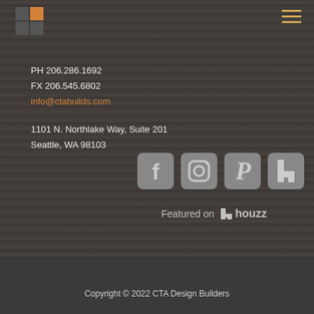[Figure (logo): CTA Design Builders logo — four squares in a 2x2 grid, top-right square orange, others dark gray]
[Figure (other): Hamburger menu icon with three horizontal lines in orange/gold color]
PH 206.286.1692
FX 206.545.6802
info@ctabuilds.com
1101 N. Northlake Way, Suite 201
Seattle, WA 98103
[Figure (other): Social media icons row: Facebook, Instagram, Pinterest, Houzz — all in light gray on rounded square backgrounds]
Featured on houzz
Copyright © 2022 CTA Design Builders